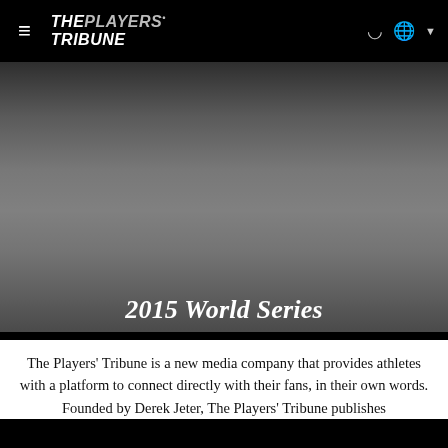THE PLAYERS' TRIBUNE
[Figure (photo): Dark gray hero image background for 2015 World Series article on The Players Tribune website]
2015 World Series
The Players’ Tribune is a new media company that provides athletes with a platform to connect directly with their fans, in their own words. Founded by Derek Jeter, The Players’ Tribune publishes